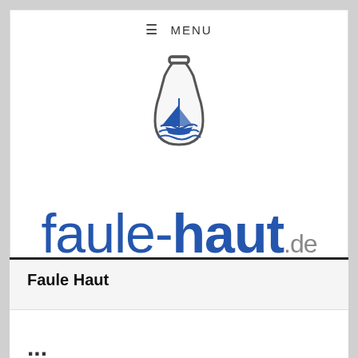≡ MENU
[Figure (logo): Faule-Haut.de logo: a bottle containing a sailboat on waves, with the text 'faule-haut.de' and tagline 'wohin der wind uns weht...']
Faule Haut
...